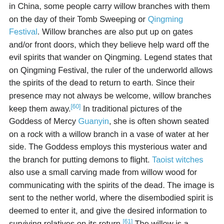in China, some people carry willow branches with them on the day of their Tomb Sweeping or Qingming Festival. Willow branches are also put up on gates and/or front doors, which they believe help ward off the evil spirits that wander on Qingming. Legend states that on Qingming Festival, the ruler of the underworld allows the spirits of the dead to return to earth. Since their presence may not always be welcome, willow branches keep them away.[60] In traditional pictures of the Goddess of Mercy Guanyin, she is often shown seated on a rock with a willow branch in a vase of water at her side. The Goddess employs this mysterious water and the branch for putting demons to flight. Taoist witches also use a small carving made from willow wood for communicating with the spirits of the dead. The image is sent to the nether world, where the disembodied spirit is deemed to enter it, and give the desired information to surviving relatives on its return.[61] The willow is a famous subject in many East Asian nations' cultures, particularly in pen and ink paintings from China and Japan.
A gisaeng (Korean geisha) named Hongrang, who lived